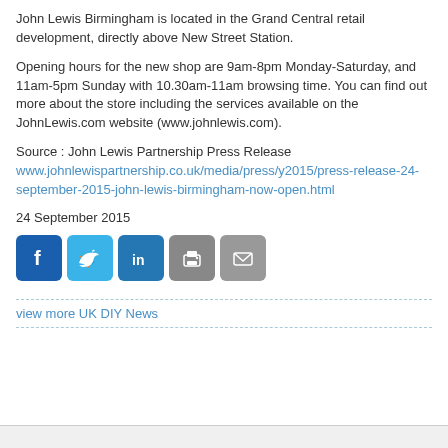John Lewis Birmingham is located in the Grand Central retail development, directly above New Street Station.
Opening hours for the new shop are 9am-8pm Monday-Saturday, and 11am-5pm Sunday with 10.30am-11am browsing time. You can find out more about the store including the services available on the JohnLewis.com website (www.johnlewis.com).
Source : John Lewis Partnership Press Release www.johnlewispartnership.co.uk/media/press/y2015/press-release-24-september-2015-john-lewis-birmingham-now-open.html
24 September 2015
[Figure (infographic): Social sharing icons: Facebook, Twitter, LinkedIn, Print, Email]
view more UK DIY News